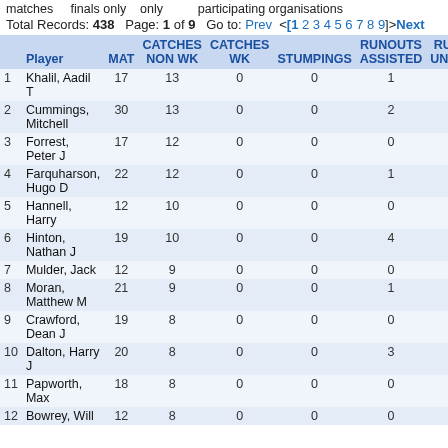matches    finals only    only        participating organisations
Total Records: 438   Page: 1 of 9   Go to: Prev  <[1 2 3 4 5 6 7 8 9]>Next
|  | Player | MAT | CATCHES NON WK | CATCHES WK | STUMPINGS | RUNOUTS ASSISTED | RUNO UNASS |
| --- | --- | --- | --- | --- | --- | --- | --- |
| 1 | Khalil, Aadil T | 17 | 13 | 0 | 0 | 1 | 0 |
| 2 | Cummings, Mitchell | 30 | 13 | 0 | 0 | 2 | 2 |
| 3 | Forrest, Peter J | 17 | 12 | 0 | 0 | 0 | 0 |
| 4 | Farquharson, Hugo D | 22 | 12 | 0 | 0 | 1 | 0 |
| 5 | Hannell, Harry | 12 | 10 | 0 | 0 | 0 | 0 |
| 6 | Hinton, Nathan J | 19 | 10 | 0 | 0 | 4 | 0 |
| 7 | Mulder, Jack | 12 | 9 | 0 | 0 | 0 | 1 |
| 8 | Moran, Matthew M | 21 | 9 | 0 | 0 | 1 | 0 |
| 9 | Crawford, Dean J | 19 | 8 | 0 | 0 | 0 | 1 |
| 10 | Dalton, Harry J | 20 | 8 | 0 | 0 | 3 | 0 |
| 11 | Papworth, Max | 18 | 8 | 0 | 0 | 0 | 1 |
| 12 | Bowrey, Will | 12 | 8 | 0 | 0 | 0 | 0 |